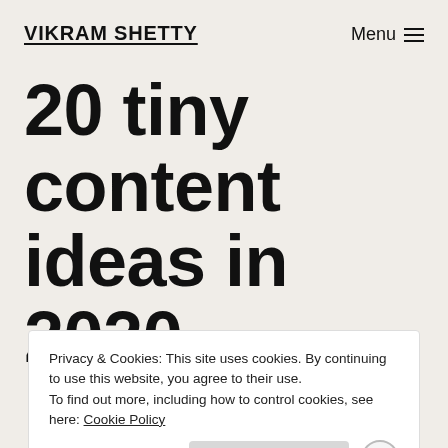VIKRAM SHETTY
20 tiny content ideas in 2020
Privacy & Cookies: This site uses cookies. By continuing to use this website, you agree to their use. To find out more, including how to control cookies, see here: Cookie Policy
Close and accept